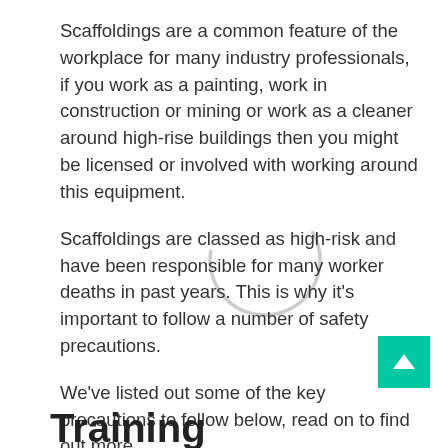Scaffoldings are a common feature of the workplace for many industry professionals, if you work as a painting, work in construction or mining or work as a cleaner around high-rise buildings then you might be licensed or involved with working around this equipment.
Scaffoldings are classed as high-risk and have been responsible for many worker deaths in past years. This is why it's important to follow a number of safety precautions.
We've listed out some of the key precautions to follow below, read on to find out more.
Training